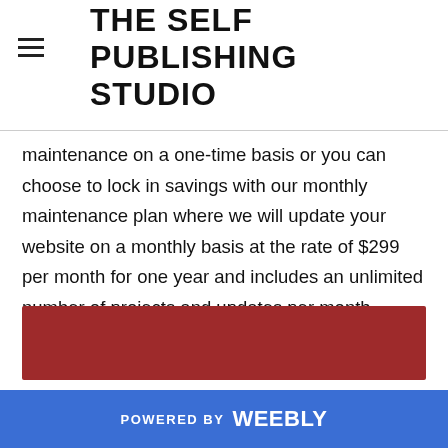THE SELF PUBLISHING STUDIO
maintenance on a one-time basis or you can choose to lock in savings with our monthly maintenance plan where we will update your website on a monthly basis at the rate of $299 per month for one year and includes an unlimited number of projects and updates per month.
[Figure (other): A dark red/maroon horizontal banner bar]
POWERED BY weebly